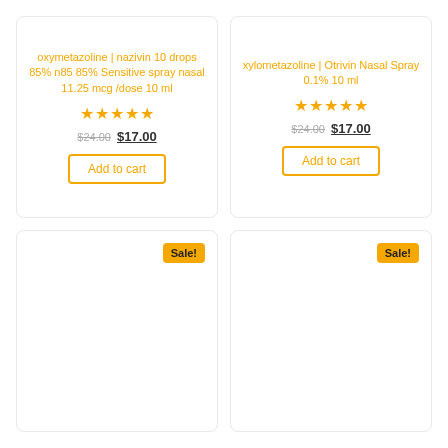oxymetazoline | nazivin 10 drops 85% n85 85% Sensitive spray nasal 11.25 mcg /dose 10 ml
★★★★★
$24.00 $17.00
Add to cart
xylometazoline | Otrivin Nasal Spray 0.1% 10 ml
★★★★★
$24.00 $17.00
Add to cart
Sale!
Sale!